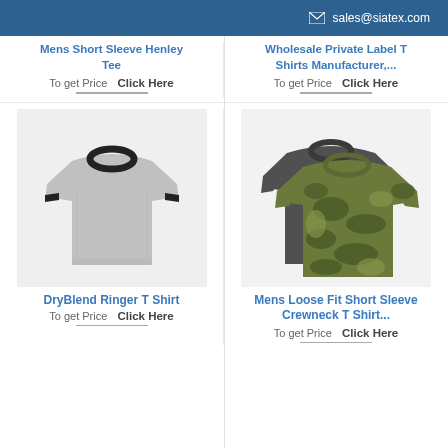sales@siatex.com
Mens Short Sleeve Henley Tee
To get Price  Click Here
Wholesale Private Label T Shirts Manufacturer,...
To get Price  Click Here
[Figure (photo): Gray ringer t-shirt with black collar and sleeve trim on light gray background]
DryBlend Ringer T Shirt
To get Price  Click Here
[Figure (photo): Two t-shirts stacked - dark charcoal gray t-shirt behind a camouflage olive green t-shirt]
Mens Loose Fit Short Sleeve Crewneck T Shirt...
To get Price  Click Here